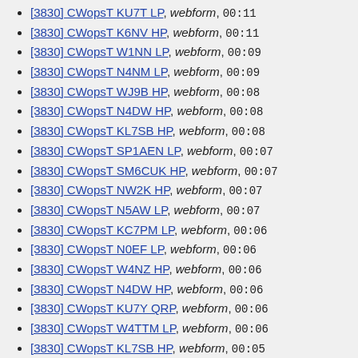[3830] CWopsT KU7T LP, webform, 00:11
[3830] CWopsT K6NV HP, webform, 00:11
[3830] CWopsT W1NN LP, webform, 00:09
[3830] CWopsT N4NM LP, webform, 00:09
[3830] CWopsT WJ9B HP, webform, 00:08
[3830] CWopsT N4DW HP, webform, 00:08
[3830] CWopsT KL7SB HP, webform, 00:08
[3830] CWopsT SP1AEN LP, webform, 00:07
[3830] CWopsT SM6CUK HP, webform, 00:07
[3830] CWopsT NW2K HP, webform, 00:07
[3830] CWopsT N5AW LP, webform, 00:07
[3830] CWopsT KC7PM LP, webform, 00:06
[3830] CWopsT N0EF LP, webform, 00:06
[3830] CWopsT W4NZ HP, webform, 00:06
[3830] CWopsT N4DW HP, webform, 00:06
[3830] CWopsT KU7Y QRP, webform, 00:06
[3830] CWopsT W4TTM LP, webform, 00:06
[3830] CWopsT KL7SB HP, webform, 00:05
[3830] CWopsT AC4CA HP, webform, 00:05
[3830] CWopsT W2GN LP, webform, 00:05
[3830] CWopsT N5RR LP, webform, 00:05
[3830] CWopsT NS0R HP, webform, 00:04
[3830] CWopsT NA3M LP, webform, 00:04
[3830] CWopsT W6SX HP, webform, 00:04
[3830] CWopsT NN4K LP, webform, 00:04
[3830] CWopsT K6RR HP, webform, 00:04